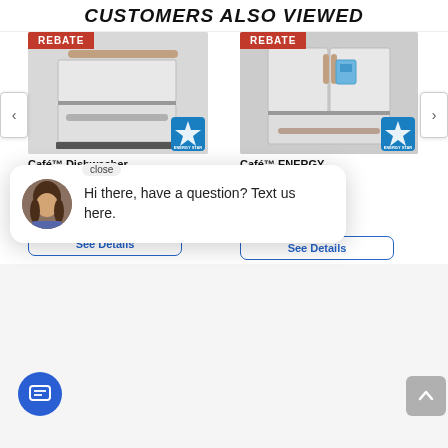CUSTOMERS ALSO VIEWED
[Figure (photo): White Café dishwasher drawer with REBATE badge and Energy Star badge]
[Figure (photo): White Café French door refrigerator with REBATE badge and Energy Star badge]
Café™ Dishwasher Drawer
Café™ ENERGY STAR® 27.8 Cu. Ft...
BTP4MW2
Our Price
$59.99
Our Price
$3,509.99
Hi there, have a question? Text us here.
See Details
See Details